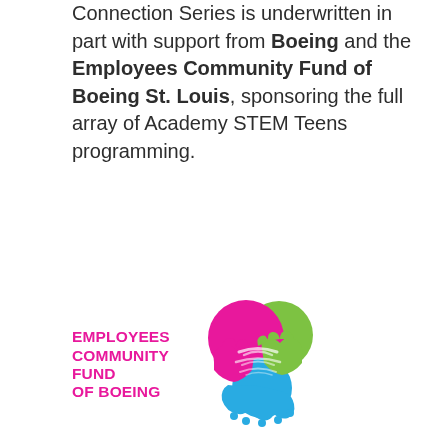Connection Series is underwritten in part with support from Boeing and the Employees Community Fund of Boeing St. Louis, sponsoring the full array of Academy STEM Teens programming.
[Figure (logo): Employees Community Fund of Boeing logo: magenta bold text 'EMPLOYEES COMMUNITY FUND OF BOEING' beside a heart-shaped handshake icon in magenta, green, and blue colors]